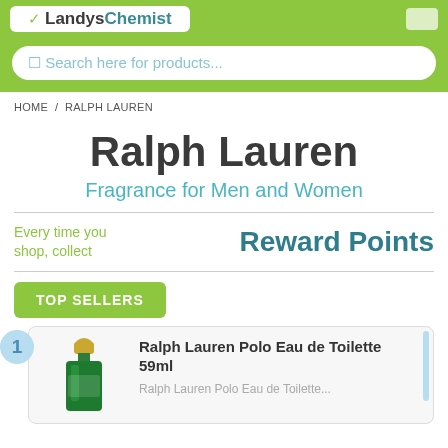LandysChemist
Search here for products...
HOME / RALPH LAUREN
Ralph Lauren
Fragrance for Men and Women
Every time you shop, collect Reward Points
TOP SELLERS
1 Ralph Lauren Polo Eau de Toilette 59ml